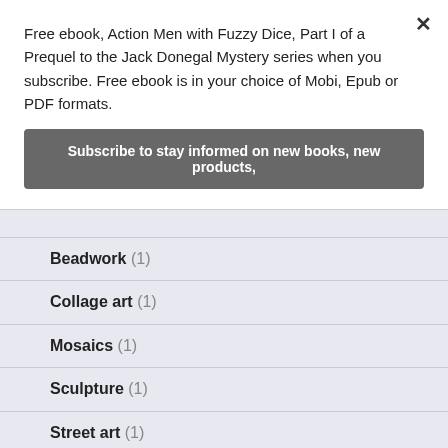Free ebook, Action Men with Fuzzy Dice, Part I of a Prequel to the Jack Donegal Mystery series when you subscribe. Free ebook is in your choice of Mobi, Epub or PDF formats.
Subscribe to stay informed on new books, new products,
Beadwork (1)
Collage art (1)
Mosaics (1)
Sculpture (1)
Street art (1)